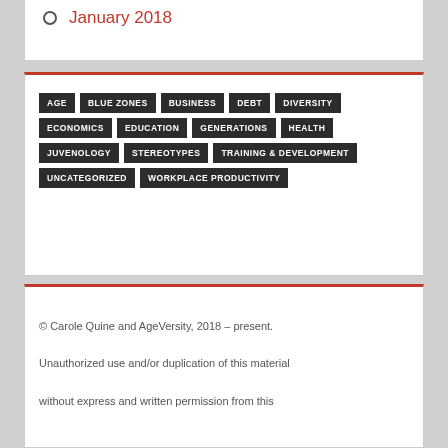January 2018
AGE BLUE ZONES BUSINESS DEBT DIVERSITY ECONOMICS EDUCATION GENERATIONS HEALTH JUVENOLOGY STEREOTYPES TRAINING & DEVELOPMENT UNCATEGORIZED WORKPLACE PRODUCTIVITY
© Carole Quine and AgeVersity, 2018 – present. Unauthorized use and/or duplication of this material without express and written permission from this